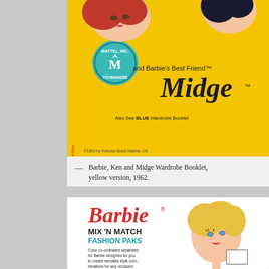[Figure (illustration): Cover of Barbie, Ken and Midge Wardrobe Booklet, yellow version 1962. Yellow background with illustrated faces of Barbie and Midge, Mattel Inc Toymakers circular logo, text 'and Barbie's Best Friend Midge TM', 'Also See BLUE Wardrobe Booklet', '1962 by Kokusai Boeki Kaisha, Ltd.']
— Barbie, Ken and Midge Wardrobe Booklet, yellow version, 1962.
[Figure (illustration): Cover of Barbie Mix 'N Match Fashion Paks booklet. White background with Barbie logo in red script, 'MIX 'N MATCH' in bold black, 'FASHION PAKS' in teal/blue bold, descriptive text about color co-ordinated separates, illustration of blonde Barbie doll face.]